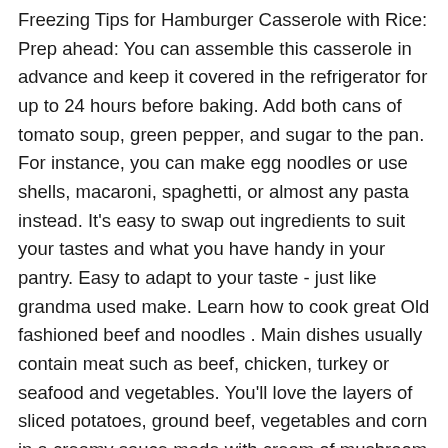Freezing Tips for Hamburger Casserole with Rice: Prep ahead: You can assemble this casserole in advance and keep it covered in the refrigerator for up to 24 hours before baking. Add both cans of tomato soup, green pepper, and sugar to the pan. For instance, you can make egg noodles or use shells, macaroni, spaghetti, or almost any pasta instead. It's easy to swap out ingredients to suit your tastes and what you have handy in your pantry. Easy to adapt to your taste - just like grandma used make. Learn how to cook great Old fashioned beef and noodles . Main dishes usually contain meat such as beef, chicken, turkey or seafood and vegetables. You'll love the layers of sliced potatoes, ground beef, vegetables and corn in a creamy sauce made with cream of mushroom soup. Sprinkle a can of chow mein noodles over the top for the last 15 minutes. https://www.foodnetwork.com/recipes/ree-drummond/tuna-noodle-casserole. Note: bottom part of text is cut off.